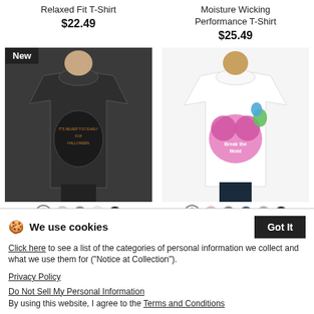Relaxed Fit T-Shirt
$22.49
Moisture Wicking Performance T-Shirt
$25.49
[Figure (photo): Woman wearing dark charcoal Halloween graphic t-shirt with 'It's Never Too Early For Halloween' design, with New badge, color swatches below]
[Figure (photo): Woman wearing white premium organic t-shirt with colorful 'Break the Mold' graphic design, color swatches below]
Never To Early - Women's Curvy T-Shirt
$26.00
Break the Mold - Women's Premium Organic T-Shirt
$27.00
We use cookies
Click here to see a list of the categories of personal information we collect and what we use them for ("Notice at Collection").
Privacy Policy
Do Not Sell My Personal Information
By using this website, I agree to the Terms and Conditions